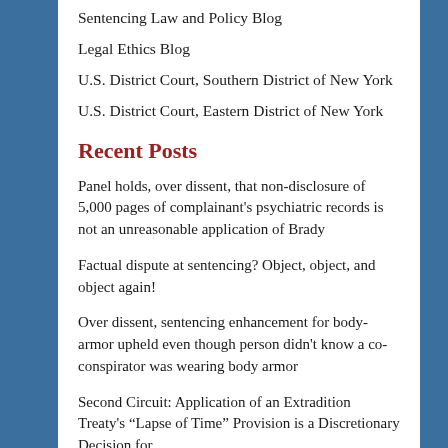Sentencing Law and Policy Blog
Legal Ethics Blog
U.S. District Court, Southern District of New York
U.S. District Court, Eastern District of New York
Recent Posts
Panel holds, over dissent, that non-disclosure of 5,000 pages of complainant's psychiatric records is not an unreasonable application of Brady
Factual dispute at sentencing? Object, object, and object again!
Over dissent, sentencing enhancement for body-armor upheld even though person didn't know a co-conspirator was wearing body armor
Second Circuit: Application of an Extradition Treaty's “Lapse of Time” Provision is a Discretionary Decision for